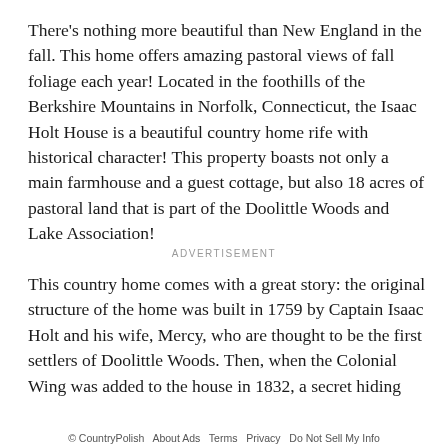There's nothing more beautiful than New England in the fall. This home offers amazing pastoral views of fall foliage each year! Located in the foothills of the Berkshire Mountains in Norfolk, Connecticut, the Isaac Holt House is a beautiful country home rife with historical character! This property boasts not only a main farmhouse and a guest cottage, but also 18 acres of pastoral land that is part of the Doolittle Woods and Lake Association!
ADVERTISEMENT
This country home comes with a great story: the original structure of the home was built in 1759 by Captain Isaac Holt and his wife, Mercy, who are thought to be the first settlers of Doolittle Woods. Then, when the Colonial Wing was added to the house in 1832, a secret hiding
© CountryPolish   About Ads   Terms   Privacy   Do Not Sell My Info